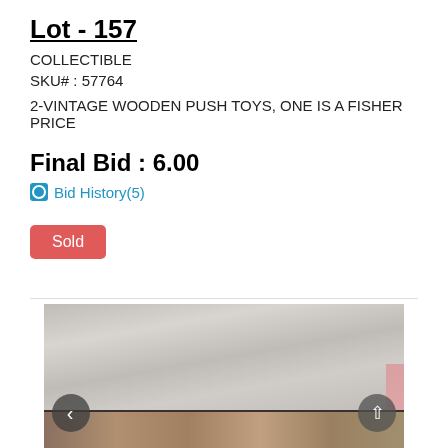Lot - 157
COLLECTIBLE
SKU# : 57764
2-VINTAGE WOODEN PUSH TOYS, ONE IS A FISHER PRICE
Final Bid : 6.00
Bid History(5)
Sold
[Figure (photo): Photo of vintage wooden push toys on a wooden surface with white cloth backdrop, navigation arrows visible]